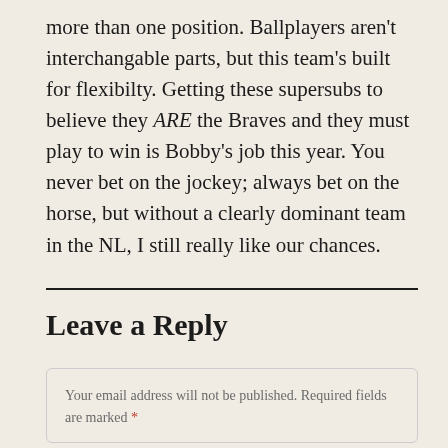more than one position. Ballplayers aren't interchangable parts, but this team's built for flexibilty. Getting these supersubs to believe they ARE the Braves and they must play to win is Bobby's job this year. You never bet on the jockey; always bet on the horse, but without a clearly dominant team in the NL, I still really like our chances.
Leave a Reply
Your email address will not be published. Required fields are marked *